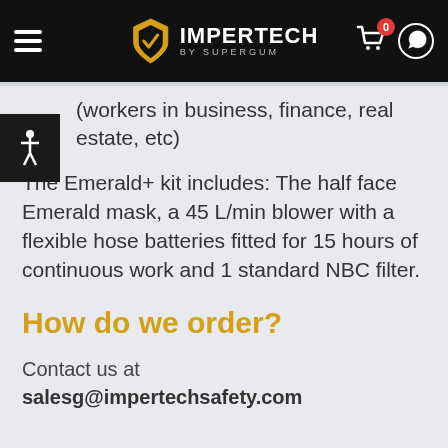IMPERTECH BY SUPERGUM
(workers in business, finance, real estate, etc)
The Emerald+ kit includes: The half face Emerald mask, a 45 L/min blower with a flexible hose batteries fitted for 15 hours of continuous work and 1 standard NBC filter.
How do we order?
Contact us at
salesg@impertechsafety.com